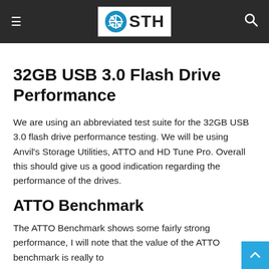STH
32GB USB 3.0 Flash Drive Performance
We are using an abbreviated test suite for the 32GB USB 3.0 flash drive performance testing. We will be using Anvil's Storage Utilities, ATTO and HD Tune Pro. Overall this should give us a good indication regarding the performance of the drives.
ATTO Benchmark
The ATTO Benchmark shows some fairly strong performance, I will note that the value of the ATTO benchmark is really to